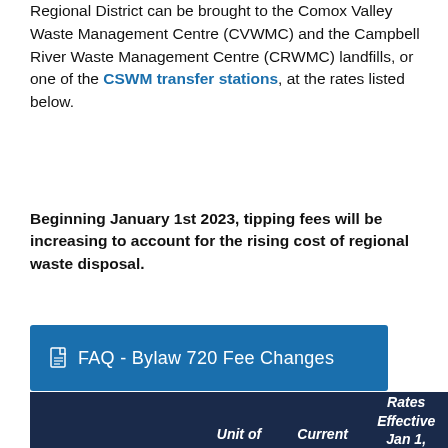Regional District can be brought to the Comox Valley Waste Management Centre (CVWMC) and the Campbell River Waste Management Centre (CRWMC) landfills, or one of the CSWM transfer stations, at the rates listed below.
Beginning January 1st 2023, tipping fees will be increasing to account for the rising cost of regional waste disposal.
[Figure (other): Blue button link: FAQ - Bylaw 720 Fee Changes]
|  | Unit of | Current | New Rates Effective Jan 1, |
| --- | --- | --- | --- |